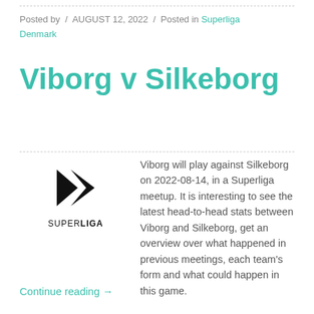Posted by / AUGUST 12, 2022 / Posted in Superliga Denmark
Viborg v Silkeborg
[Figure (logo): Superliga Denmark logo — stylized arrow/lightning bolt mark above the text SUPERLIGA in bold]
Viborg will play against Silkeborg on 2022-08-14, in a Superliga meetup. It is interesting to see the latest head-to-head stats between Viborg and Silkeborg, get an overview over what happened in previous meetings, each team's form and what could happen in this game.
Continue reading →